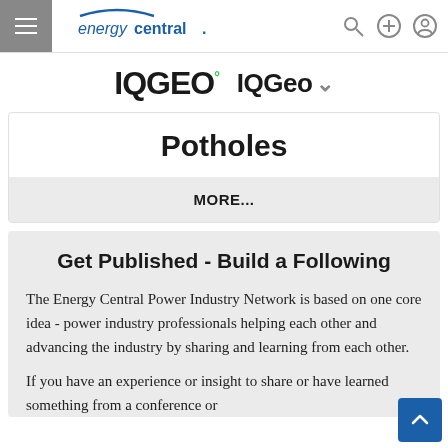energycentral.
[Figure (logo): IQGeo logo with degree symbol and IQGeo navigation dropdown label]
Potholes
MORE...
Get Published - Build a Following
The Energy Central Power Industry Network is based on one core idea - power industry professionals helping each other and advancing the industry by sharing and learning from each other.
If you have an experience or insight to share or have learned something from a conference or